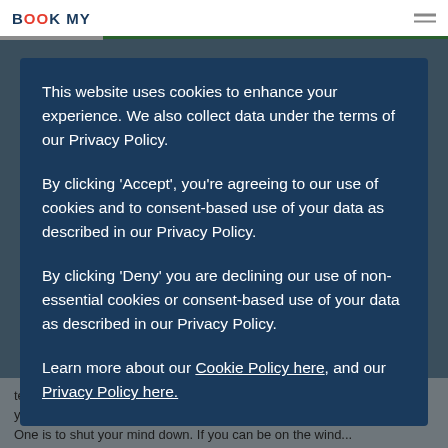BOOKMV
This website uses cookies to enhance your experience. We also collect data under the terms of our Privacy Policy.
By clicking 'Accept', you're agreeing to our use of cookies and to consent-based use of your data as described in our Privacy Policy.
By clicking 'Deny' you are declining our use of non-essential cookies or consent-based use of your data as described in our Privacy Policy.
Learn more about our Cookie Policy here, and our Privacy Policy here.
tested ways to cut down on your petrol costs (and consumption) while you're out and about in Bolton or beyond. One is to shut your mind down. If you can be on the wind...